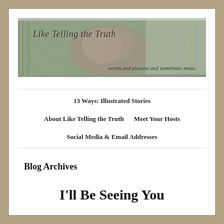[Figure (photo): Blog header image showing stone statue/cherub among bamboo and foliage with text 'Like Telling the Truth' and subtitle 'words and pictures and sometimes music']
13 Ways: Illustrated Stories
About Like Telling the Truth    Meet Your Hosts
Social Media & Email Addresses
Blog Archives
I'll Be Seeing You